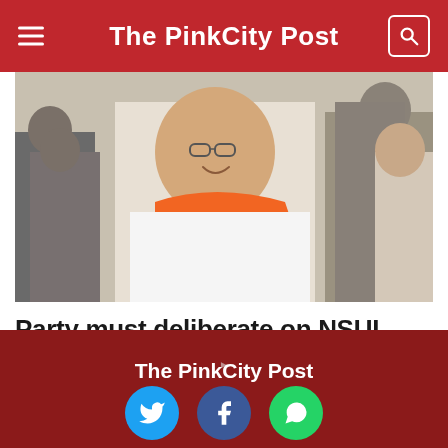The PinkCity Post
[Figure (photo): A smiling man wearing glasses and a tricolor Congress party scarf, surrounded by a crowd of people at a political event]
Party must deliberate on NSUI defeat in student union elections: Sachin Pilot
The PinkCity Post